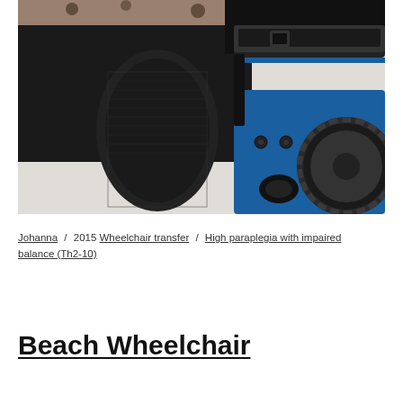[Figure (photo): Close-up photograph of a person seated in a blue power/electric wheelchair, wearing black pants and a leopard-print top. The image shows the seat, armrest, and large wheel of the wheelchair.]
Johanna / 2015 Wheelchair transfer / High paraplegia with impaired balance (Th2-10)
Beach Wheelchair